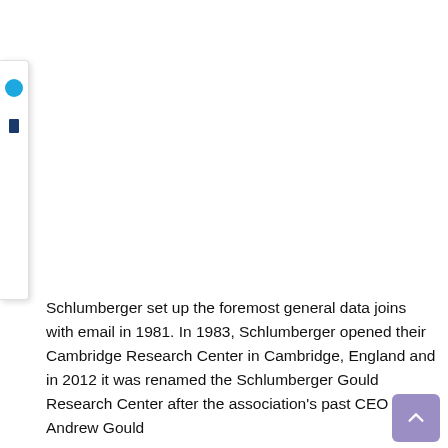[Figure (other): Left sidebar UI panel with a blue circle icon and a navy blue bar icon, partially visible at left edge of page]
Schlumberger set up the foremost general data joins with email in 1981. In 1983, Schlumberger opened their Cambridge Research Center in Cambridge, England and in 2012 it was renamed the Schlumberger Gould Research Center after the association's past CEO Andrew Gould
[Figure (other): Purple/lavender scroll-to-top button with upward chevron arrow, positioned bottom-right]